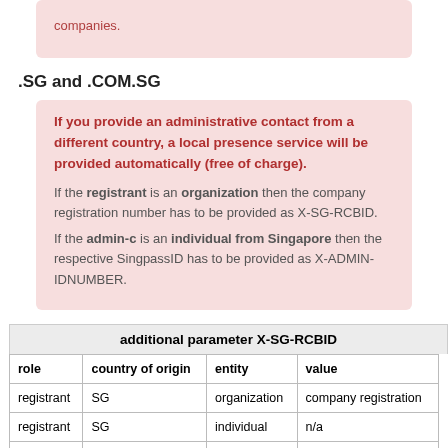companies.
.SG and .COM.SG
If you provide an administrative contact from a different country, a local presence service will be provided automatically (free of charge). If the registrant is an organization then the company registration number has to be provided as X-SG-RCBID. If the admin-c is an individual from Singapore then the respective SingpassID has to be provided as X-ADMIN-IDNUMBER.
| additional parameter X-SG-RCBID |
| --- |
| role | country of origin | entity | value |
| registrant | SG | organization | company registration... |
| registrant | SG | individual | n/a |